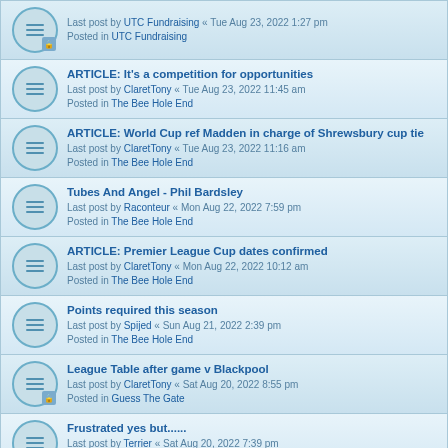Last post by UTC Fundraising « Tue Aug 23, 2022 1:27 pm
Posted in UTC Fundraising
ARTICLE: It's a competition for opportunities
Last post by ClaretTony « Tue Aug 23, 2022 11:45 am
Posted in The Bee Hole End
ARTICLE: World Cup ref Madden in charge of Shrewsbury cup tie
Last post by ClaretTony « Tue Aug 23, 2022 11:16 am
Posted in The Bee Hole End
Tubes And Angel - Phil Bardsley
Last post by Raconteur « Mon Aug 22, 2022 7:59 pm
Posted in The Bee Hole End
ARTICLE: Premier League Cup dates confirmed
Last post by ClaretTony « Mon Aug 22, 2022 10:12 am
Posted in The Bee Hole End
Points required this season
Last post by Spijed « Sun Aug 21, 2022 2:39 pm
Posted in The Bee Hole End
League Table after game v Blackpool
Last post by ClaretTony « Sat Aug 20, 2022 8:55 pm
Posted in Guess The Gate
Frustrated yes but......
Last post by Terrier « Sat Aug 20, 2022 7:39 pm
Posted in The Bee Hole End
ARTICLE: We have to expect moments where not everything goes to plan